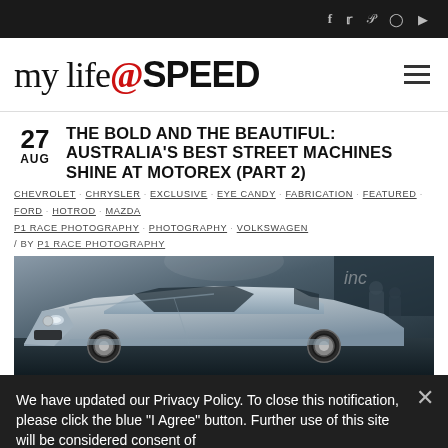my life @ SPEED — social icons header bar
[Figure (logo): my life@SPEED website logo with red @ symbol and bold SPEED text, hamburger menu icon on right]
THE BOLD AND THE BEAUTIFUL: AUSTRALIA'S BEST STREET MACHINES SHINE AT MOTOREX (PART 2)
CHEVROLET · CHRYSLER · EXCLUSIVE · EYE CANDY · FABRICATION · FEATURED · FORD · HOTROD · MAZDA · P1 RACE PHOTOGRAPHY · PHOTOGRAPHY · VOLKSWAGEN / BY P1 RACE PHOTOGRAPHY
[Figure (photo): Silver modified Holden sedan (street machine) on display at Motorex show, angled front-three-quarter view, dark background with show lighting and spectators visible]
We have updated our Privacy Policy. To close this notification, please click the blue "I Agree" button. Further use of this site will be considered consent of